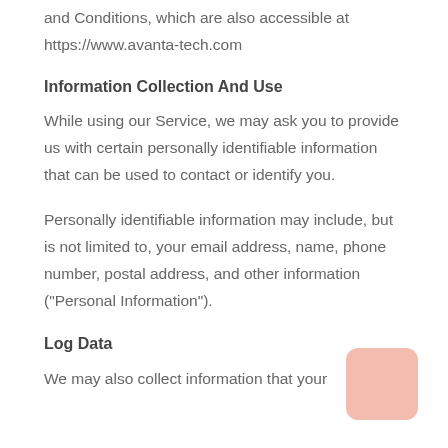and Conditions, which are also accessible at https://www.avanta-tech.com
Information Collection And Use
While using our Service, we may ask you to provide us with certain personally identifiable information that can be used to contact or identify you.
Personally identifiable information may include, but is not limited to, your email address, name, phone number, postal address, and other information ("Personal Information").
Log Data
We may also collect information that your